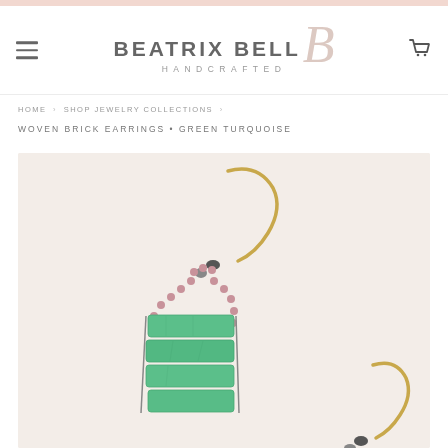Beatrix Bell Handcrafted
HOME › SHOP JEWELRY COLLECTIONS › WOVEN BRICK EARRINGS • GREEN TURQUOISE
[Figure (photo): Close-up photo of handcrafted woven brick earrings featuring green turquoise stone rectangles woven together with pink seed beads, attached to gold-tone ear wire hooks, displayed on a light cream background.]